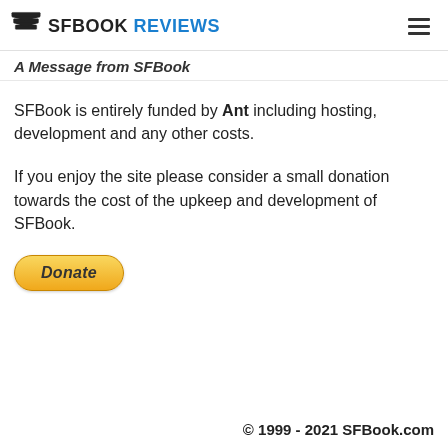SFBOOK REVIEWS
A Message from SFBook
SFBook is entirely funded by Ant including hosting, development and any other costs.
If you enjoy the site please consider a small donation towards the cost of the upkeep and development of SFBook.
[Figure (other): PayPal Donate button]
© 1999 - 2021 SFBook.com